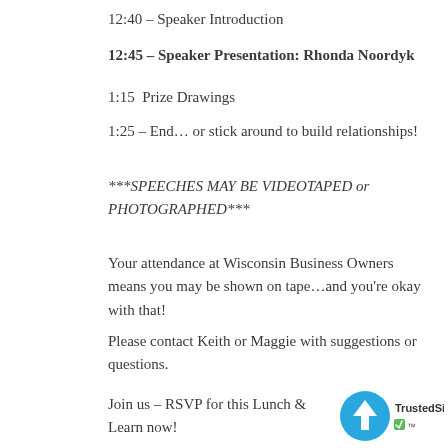12:40 – Speaker Introduction
12:45 – Speaker Presentation: Rhonda Noordyk
1:15  Prize Drawings
1:25 – End… or stick around to build relationships!
***SPEECHES MAY BE VIDEOTAPED or PHOTOGRAPHED***
Your attendance at Wisconsin Business Owners means you may be shown on tape…and you're okay with that!
Please contact Keith or Maggie with suggestions or questions.
Join us – RSVP for this Lunch & Learn now!
[Figure (logo): TrustedSite badge with blue circle containing white upward arrow and TrustedSite text with checkmark]